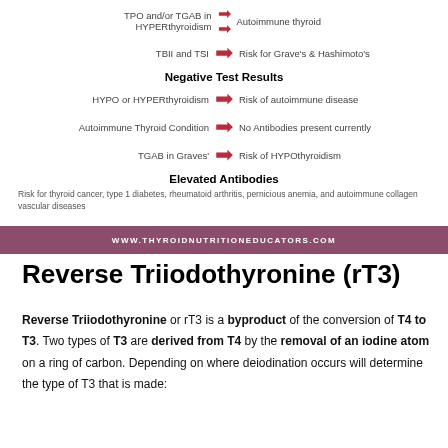[Figure (infographic): Infographic showing positive and negative thyroid antibody test results with red arrows linking left-side conditions to right-side outcomes. Rows: TPO and/or TGAB in HYPERthyroidism → Autoimmune thyroid; TBII and TSI → Risk for Grave's & Hashimoto's; Negative Test Results header; HYPO or HYPERthyroidism → Risk of autoimmune disease; Autoimmune Thyroid Condition → No Antibodies present currently; TGAB in Graves' → Risk of HYPOthyroidism; Elevated Antibodies header; Risk for thyroid cancer text.]
WWW.THYROIDNUTRITIONEDUCATORS.COM
Reverse Triiodothyronine (rT3)
Reverse Triiodothyronine or rT3 is a byproduct of the conversion of T4 to T3. Two types of T3 are derived from T4 by the removal of an iodine atom on a ring of carbon. Depending on where deiodination occurs will determine the type of T3 that is made: